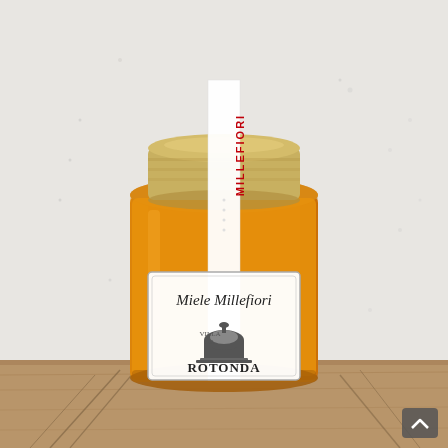[Figure (photo): A glass jar of Millefiori honey (Miele Millefiori) with a gold metal lid. A white vertical label band over the lid reads 'MILLEFIORI' in red uppercase letters. The main label on the front of the jar shows 'Miele MillefioRi' in italic text above the 'Villa la Rotonda' brand logo with an illustration of a domed building. The honey inside is a warm amber/orange color. The jar sits on a wooden surface with dried herbs/flowers around it. Background is a light grey/white textured wall. A small dark grey scroll-to-top button is visible in the bottom-right corner.]